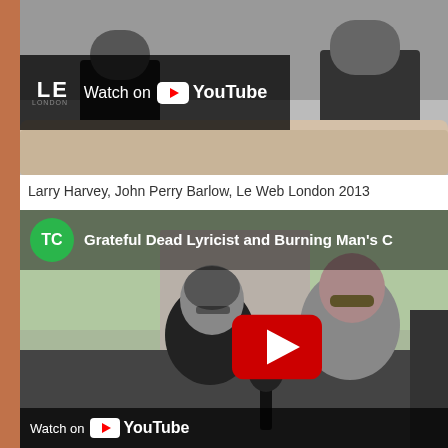[Figure (screenshot): Video thumbnail with 'Watch on YouTube' overlay and LE/London logo, showing two people seated on a couch]
Larry Harvey, John Perry Barlow, Le Web London 2013
[Figure (screenshot): TechCrunch video thumbnail with title 'Grateful Dead Lyricist and Burning Man's C...' showing two men seated outdoors with a YouTube play button overlay]